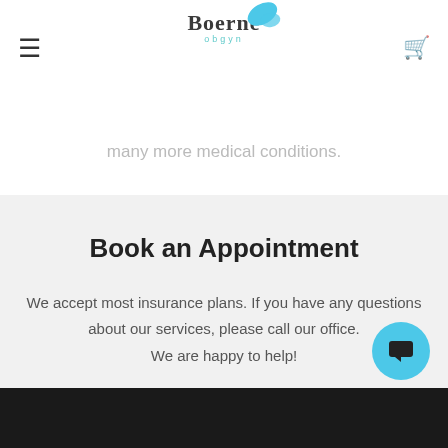Age, Thrombocytopenia (platelet count, our platelets help blood to clot), Iron deficiency Anemia, and many more medical conditions.
Boerne obgyn
Book an Appointment
We accept most insurance plans. If you have any questions about our services, please call our office. We are happy to help!
BOOK ONLINE